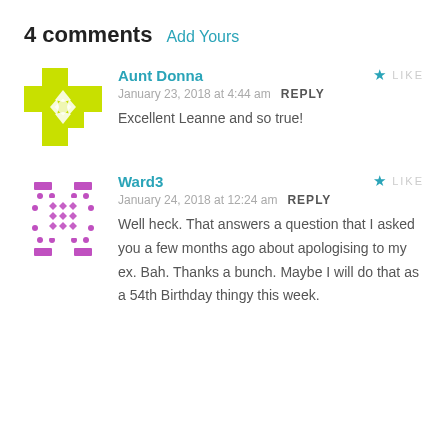4 comments  Add Yours
[Figure (illustration): Gravatar avatar for Aunt Donna: yellow-green geometric cross pattern with diamond shapes]
Aunt Donna
January 23, 2018 at 4:44 am  REPLY
Excellent Leanne and so true!
[Figure (illustration): Gravatar avatar for Ward3: purple geometric pattern with diamonds and rectangles on white]
Ward3
January 24, 2018 at 12:24 am  REPLY
Well heck. That answers a question that I asked you a few months ago about apologising to my ex. Bah. Thanks a bunch. Maybe I will do that as a 54th Birthday thingy this week.